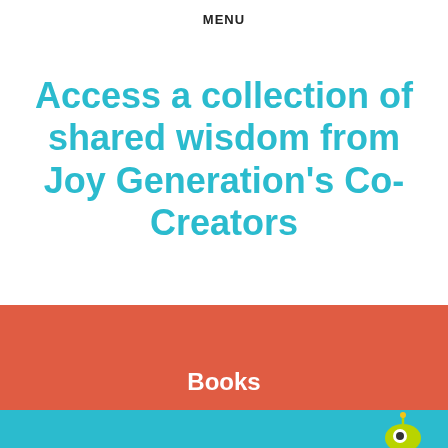MENU
Access a collection of shared wisdom from Joy Generation's Co-Creators
Books
[Figure (illustration): Teal bottom bar with a green alien/robot mascot character in the bottom-right corner]